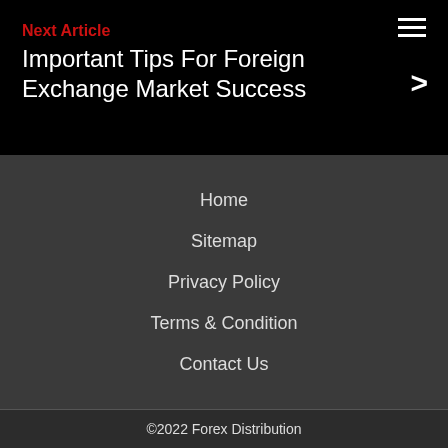Next Article
Important Tips For Foreign Exchange Market Success
Home
Sitemap
Privacy Policy
Terms & Condition
Contact Us
©2022 Forex Distribution